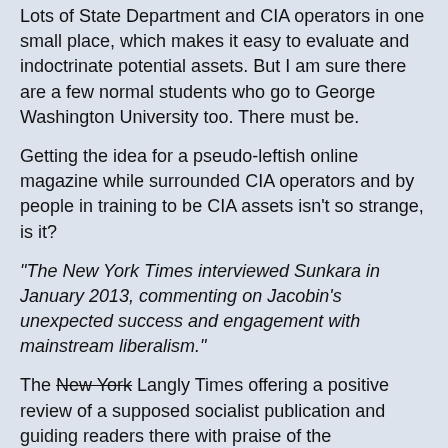Lots of State Department and CIA operators in one small place, which makes it easy to evaluate and indoctrinate potential assets. But I am sure there are a few normal students who go to George Washington University too. There must be.
Getting the idea for a pseudo-leftish online magazine while surrounded CIA operators and by people in training to be CIA assets isn't so strange, is it?
"The New York Times interviewed Sunkara in January 2013, commenting on Jacobin's unexpected success and engagement with mainstream liberalism."
The New York [strikethrough] Langly Times offering a positive review of a supposed socialist publication and guiding readers there with praise of the publication's liberalism should be a bit of a hint, but what else do we know about it from the Wikipedia article?
"Sunkara writes for Vice magazine, The New York Times, Washington Post and The Nation, among other outlets."
All pretty well established as major participants in "Operation Mockingbird".
The article says he is the publisher of Tribune, and that Wikipedia article mentions that "From 2009 to 2018...